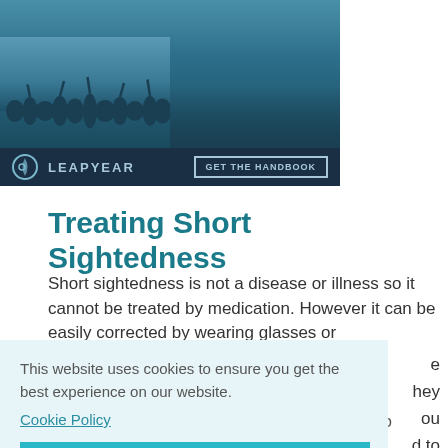[Figure (screenshot): LeapYear banner with crowd silhouette photo and dark navy footer bar showing LEAPYEAR logo and 'GET THE HANDBOOK' button]
Treating Short Sightedness
Short sightedness is not a disease or illness so it cannot be treated by medication. However it can be easily corrected by wearing glasses or
This website uses cookies to ensure you get the best experience on our website.
Cookie Policy
Got it!
Laser treatment can do away with the need to